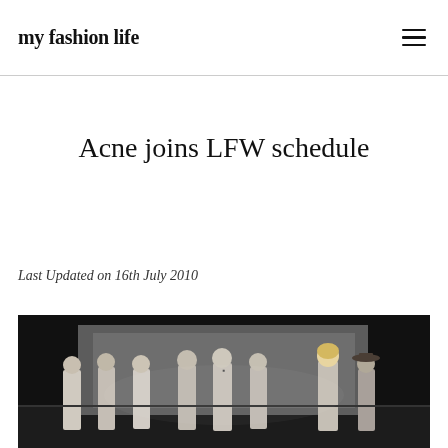my fashion life
Acne joins LFW schedule
Last Updated on 16th July 2010
[Figure (photo): Fashion show scene with models standing on a stage/runway in front of a large backdrop in a dark venue]